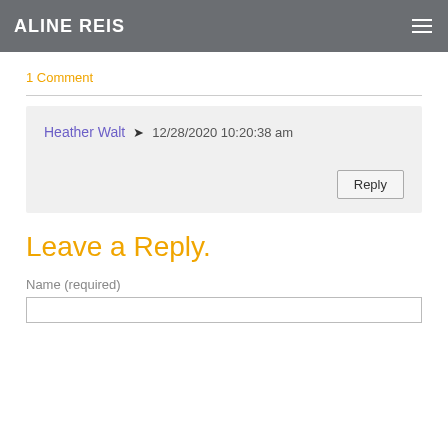ALINE REIS
1 Comment
Heather Walt → 12/28/2020 10:20:38 am
Reply
Leave a Reply.
Name (required)